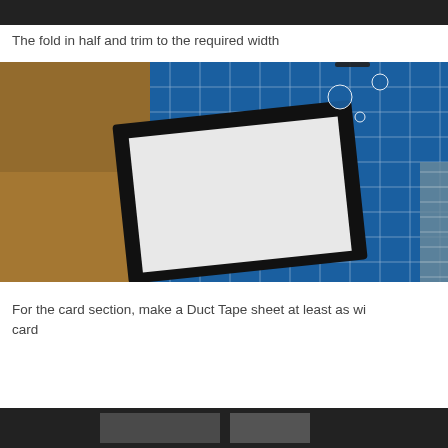[Figure (photo): Dark photo at top of page showing partial view of a project]
The fold in half and trim to the required width
[Figure (photo): Photo of a cutting mat (blue grid) on a wooden surface with a black-framed holder containing a white card, being trimmed to size]
For the card section, make a Duct Tape sheet at least as wide as the card
[Figure (photo): Bottom photo partially visible showing beginning of next step]